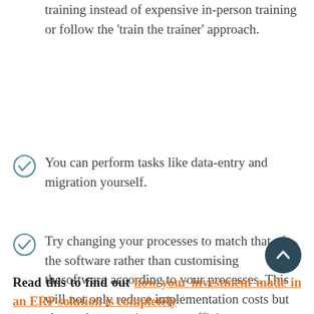training instead of expensive in-person training or follow the ‘train the trainer’ approach.
You can perform tasks like data-entry and migration yourself.
Try changing your processes to match that of the software rather than customising thesoftware according to your processes. This will not only reduce implementation costs but also make operations more efficient.
Read this to find out how your investment made in an ERP solution is completely